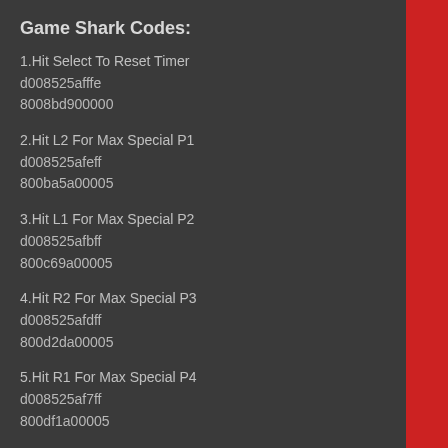Game Shark Codes:
1.Hit Select To Reset Timer
d008525afffe
8008bd900000
2.Hit L2 For Max Special P1
d008525afeff
800ba5a00005
3.Hit L1 For Max Special P2
d008525afbff
800c69a00005
4.Hit R2 For Max Special P3
d008525afdff
800d2da00005
5.Hit R1 For Max Special P4
d008525af7ff
800df1a00005
Mid-air Cheats:
To walk in mid-air, first you need to play a hardcore